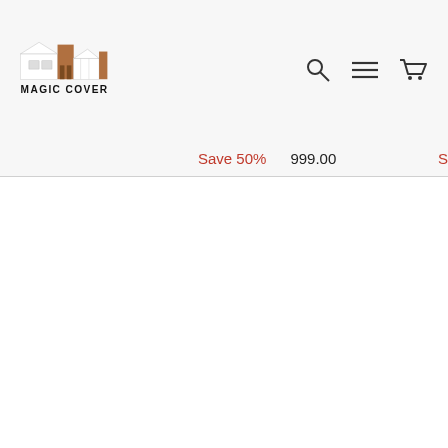MAGIC COVER — navigation header with logo and icons
Save 50%  999.00  S